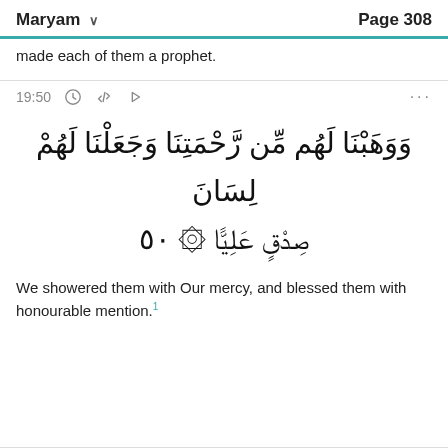Maryam  Page 308
made each of them a prophet.
19:50
[Figure (other): Arabic Quranic verse 19:50 in large Arabic script: وَوَهَبْنَا لَهُم مِّن رَّحْمَتِنَا وَجَعَلْنَا لَهُمْ لِسَانَ صِدْقٍ عَلِيًّا ۞٥٠]
We showered them with Our mercy, and blessed them with honourable mention.¹